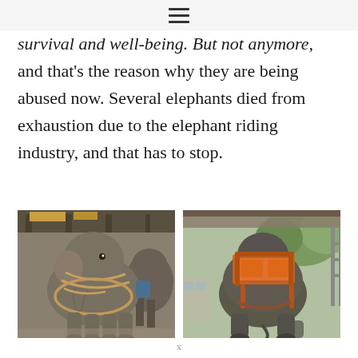≡
survival and well-being. But not anymore, and that's the reason why they are being abused now. Several elephants died from exhaustion due to the elephant riding industry, and that has to stop.
[Figure (photo): Elephant facing forward, restrained with chains around its neck and legs, standing in a covered outdoor structure with other elephants behind.]
[Figure (photo): Elephant viewed from behind with an orange riding saddle/seat mounted on its back, standing in a shaded outdoor area with trees in background.]
x